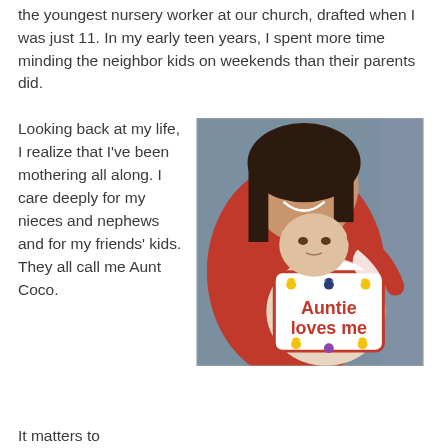the youngest nursery worker at our church, drafted when I was just 11. In my early teen years, I spent more time minding the neighbor kids on weekends than their parents did.
Looking back at my life, I realize that I've been mothering all along. I care deeply for my nieces and nephews and for my friends' kids. They all call me Aunt Coco.
[Figure (photo): A smiling young woman in a red top with her arm around a baby wearing a white bib that reads 'Auntie loves me' with yellow duck and heart decorations.]
It matters to